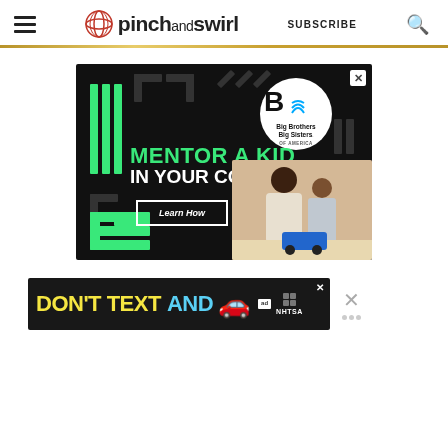pinch and swirl — SUBSCRIBE
[Figure (illustration): Big Brothers Big Sisters of America advertisement on dark background with green geometric shapes. Text reads: MENTOR A KID IN YOUR COMMUNITY. Learn How button. Photo of adult man and young boy working on a toy car project.]
[Figure (illustration): DON'T TEXT AND [car emoji] — NHTSA advertisement banner in dark background with yellow and cyan text.]